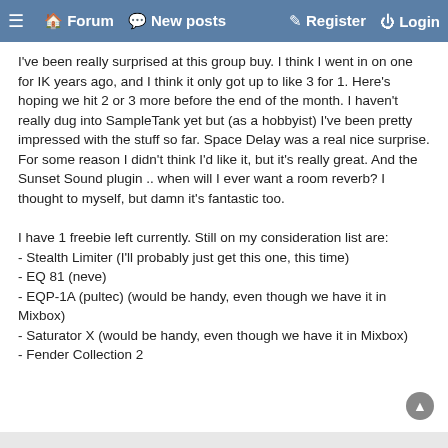≡  Forum  New posts  Register  Login
I've been really surprised at this group buy. I think I went in on one for IK years ago, and I think it only got up to like 3 for 1. Here's hoping we hit 2 or 3 more before the end of the month. I haven't really dug into SampleTank yet but (as a hobbyist) I've been pretty impressed with the stuff so far. Space Delay was a real nice surprise. For some reason I didn't think I'd like it, but it's really great. And the Sunset Sound plugin .. when will I ever want a room reverb? I thought to myself, but damn it's fantastic too.
I have 1 freebie left currently. Still on my consideration list are:
- Stealth Limiter (I'll probably just get this one, this time)
- EQ 81 (neve)
- EQP-1A (pultec) (would be handy, even though we have it in Mixbox)
- Saturator X (would be handy, even though we have it in Mixbox)
- Fender Collection 2